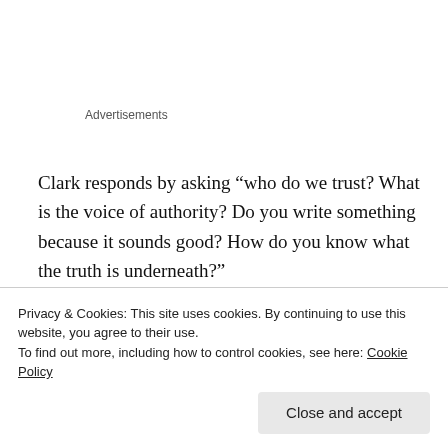Advertisements
Clark responds by asking “who do we trust? What is the voice of authority? Do you write something because it sounds good? How do you know what the truth is underneath?”
Smith said that she had a writer friend in Orkney who “shouts out each sentence, so that he gets the rhythm right. Rhythm is around us – the information-led madness whose rhythm is like a heartbeat…
Privacy & Cookies: This site uses cookies. By continuing to use this website, you agree to their use.
To find out more, including how to control cookies, see here: Cookie Policy
something excitingly electric about it. And we long for it.”